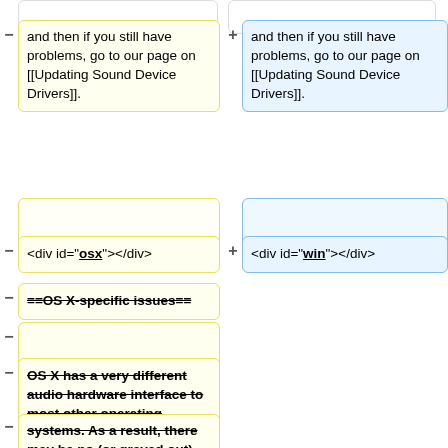and then if you still have problems, go to our page on [[Updating Sound Device Drivers]].
and then if you still have problems, go to our page on [[Updating Sound Device Drivers]].
<div id="osx"></div>
<div id="win"></div>
==OS X-specific issues==
OS X has a very different audio hardware interface to most other operating
systems. As a result, there may be no (or greyed out) Mixer Toolbar, or only one audio recording source available to